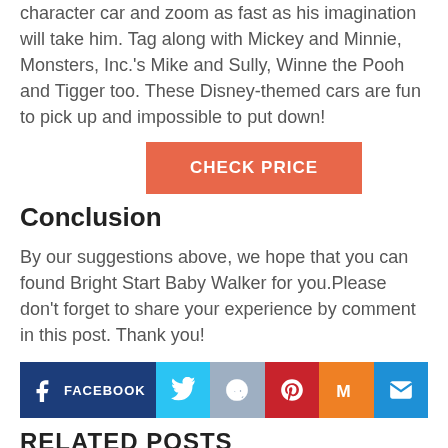character car and zoom as fast as his imagination will take him. Tag along with Mickey and Minnie, Monsters, Inc.'s Mike and Sully, Winne the Pooh and Tigger too. These Disney-themed cars are fun to pick up and impossible to put down!
CHECK PRICE
Conclusion
By our suggestions above, we hope that you can found Bright Start Baby Walker for you.Please don't forget to share your experience by comment in this post. Thank you!
[Figure (infographic): Social sharing buttons row: Facebook, Twitter, Reddit, Pinterest, Mix, Email]
RELATED POSTS